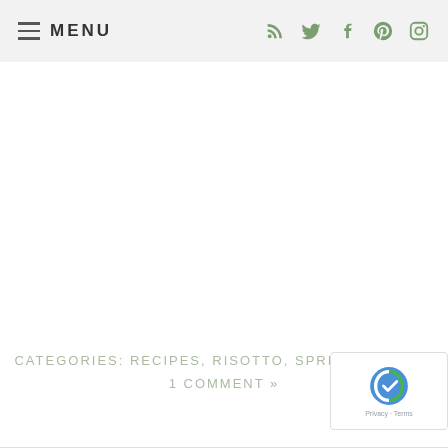MENU (with hamburger icon and social icons: RSS, Twitter, Facebook, Pinterest, Instagram)
CATEGORIES: RECIPES, RISOTTO, SPRING RECIPES
1 COMMENT »
[Figure (logo): reCAPTCHA badge with Google reCAPTCHA logo and 'Privacy + Terms' text]